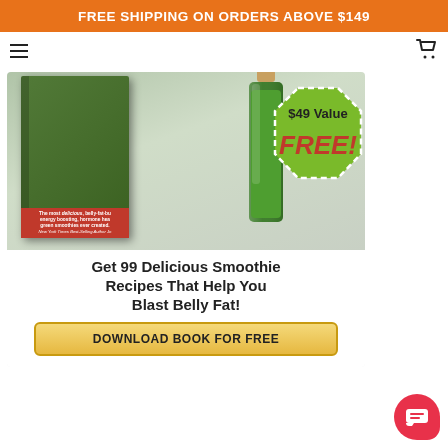FREE SHIPPING ON ORDERS ABOVE $149
[Figure (screenshot): Navigation bar with hamburger menu icon on left and shopping cart icon on right]
[Figure (infographic): Advertisement card showing a green smoothie book cover with '$49 Value FREE!' badge, headline 'Get 99 Delicious Smoothie Recipes That Help You Blast Belly Fat!' and a yellow 'DOWNLOAD BOOK FOR FREE' button]
[Figure (illustration): Red circular chat/support bubble icon in bottom right corner]